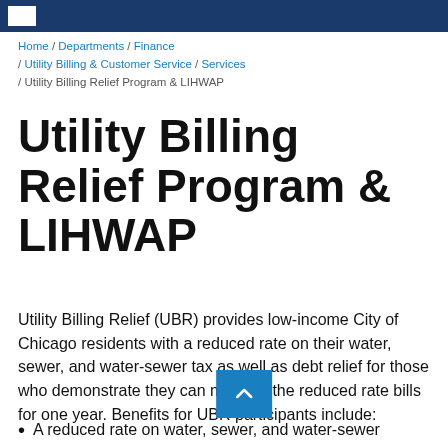Home / Departments / Finance / Utility Billing & Customer Service / Services / Utility Billing Relief Program & LIHWAP
Utility Billing Relief Program & LIHWAP
Utility Billing Relief (UBR) provides low-income City of Chicago residents with a reduced rate on their water, sewer, and water-sewer tax as well as debt relief for those who demonstrate they can manage the reduced rate bills for one year. Benefits for UBR participants include:
A reduced rate on water, sewer, and water-sewer